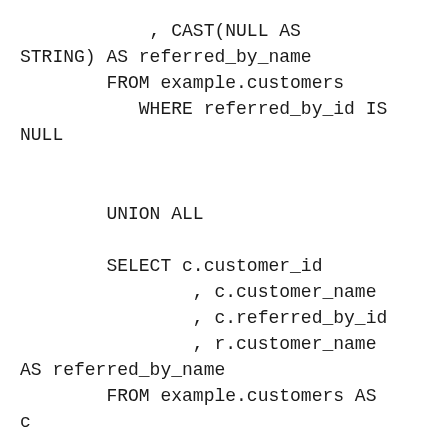, CAST(NULL AS STRING) AS referred_by_name         FROM example.customers            WHERE referred_by_id IS NULL

        UNION ALL

        SELECT c.customer_id                 , c.customer_name                 , c.referred_by_id                 , r.customer_name AS referred_by_name         FROM example.customers AS c